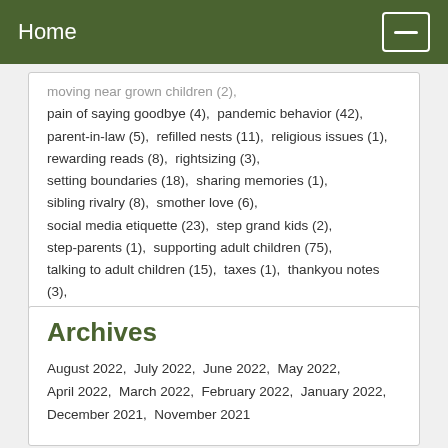Home
moving near grown children (2),  pain of saying goodbye (4),  pandemic behavior (42),  parent-in-law (5),  refilled nests (11),  religious issues (1),  rewarding reads (8),  rightsizing (3),  setting boundaries (18),  sharing memories (1),  sibling rivalry (8),  smother love (6),  social media etiquette (23),  step grand kids (2),  step-parents (1),  supporting adult children (75),  talking to adult children (15),  taxes (1),  thankyou notes (3),  the 40/70 talk (2),  tough love (8),  vacationing with grown children (34),  visiting grown children (19),  weddings (17)
Archives
August 2022,  July 2022,  June 2022,  May 2022,  April 2022,  March 2022,  February 2022,  January 2022,  December 2021,  November 2021